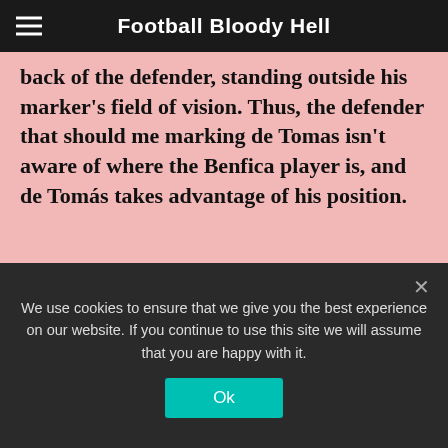Football Bloody Hell
back of the defender, standing outside his marker's field of vision. Thus, the defender that should me marking de Tomas isn't aware of where the Benfica player is, and de Tomás takes advantage of his position.
[Figure (screenshot): Football match screenshot showing ACF 1 vs BEN 1 at 46:00+1, International Champions Cup, novasports HD broadcast. Players on pitch with a large blue curved arrow indicating a pass or run direction from left side to right side of the pitch.]
We use cookies to ensure that we give you the best experience on our website. If you continue to use this site we will assume that you are happy with it.